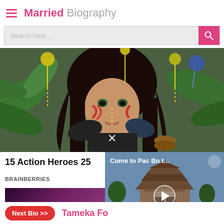Married Biography
Search here...
[Figure (photo): Woman with dark hair and face paint in a warrior costume with balloons, in a jungle setting. A small X close button is visible at the bottom center.]
15 Action Heroes 25
BRAINBERRIES
[Figure (screenshot): Video thumbnail showing a temple/pagoda building with the text 'Come to Pac Bo t...' and a play button overlay.]
Next Bio >>  Tameka Fo